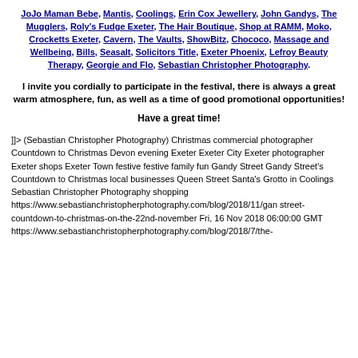JoJo Maman Bebe, Mantis, Coolings, Erin Cox Jewellery, John Gandys, The Mugglers, Roly's Fudge Exeter, The Hair Boutique, Shop at RAMM, Moko, Crocketts Exeter, Cavern, The Vaults, ShowBitz, Chococo, Massage and Wellbeing, Bills, Seasalt, Solicitors Title, Exeter Phoenix, Lefroy Beauty Therapy, Georgie and Flo, Sebastian Christopher Photography.
I invite you cordially to participate in the festival, there is always a great warm atmosphere, fun, as well as a time of good promotional opportunities!
Have a great time!
]]> (Sebastian Christopher Photography) Christmas commercial photographer Countdown to Christmas Devon evening Exeter Exeter City Exeter photographer Exeter shops Exeter Town festive festive family fun Gandy Street Gandy Street's Countdown to Christmas local businesses Queen Street Santa's Grotto in Coolings Sebastian Christopher Photography shopping https://www.sebastianchristopherphotography.com/blog/2018/11/gandy-street-countdown-to-christmas-on-the-22nd-november Fri, 16 Nov 2018 06:00:00 GMT https://www.sebastianchristopherphotography.com/blog/2018/7/the-